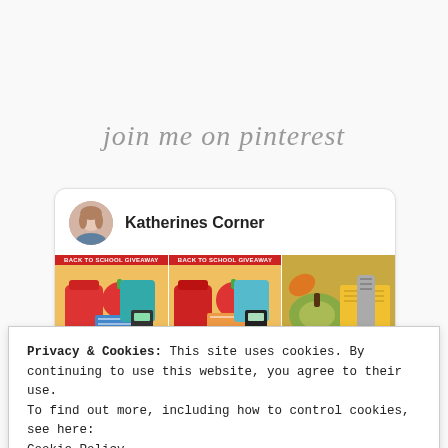join me on pinterest
[Figure (screenshot): Pinterest widget showing 'Katherines Corner' profile with avatar photo and three thumbnail images of back-to-school giveaway and fall content]
Privacy & Cookies: This site uses cookies. By continuing to use this website, you agree to their use.
To find out more, including how to control cookies, see here:
Cookie Policy
Close and accept